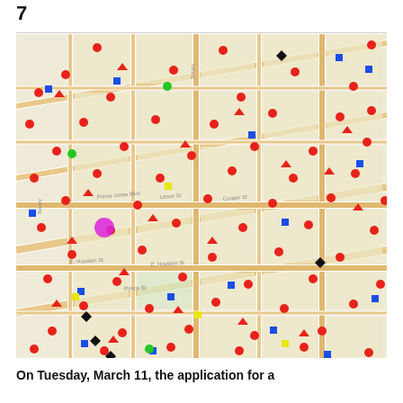7
[Figure (map): Street map of lower Manhattan / East Village area of New York City showing colored markers (red circles, blue squares, red triangles, black diamonds, green circles, yellow squares, magenta circle) placed throughout the grid streets including E. Houston St, Bowery, Prince St, etc.]
On Tuesday, March 11, the application for a